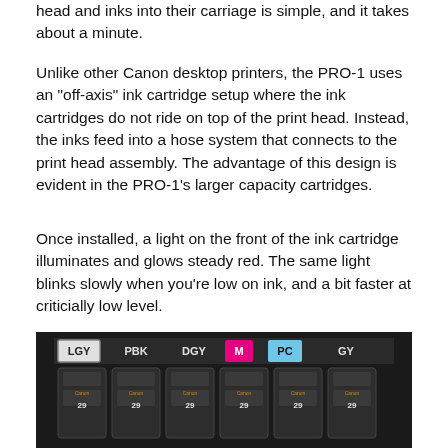head and inks into their carriage is simple, and it takes about a minute.
Unlike other Canon desktop printers, the PRO-1 uses an "off-axis" ink cartridge setup where the ink cartridges do not ride on top of the print head. Instead, the inks feed into a hose system that connects to the print head assembly. The advantage of this design is evident in the PRO-1's larger capacity cartridges.
Once installed, a light on the front of the ink cartridge illuminates and glows steady red. The same light blinks slowly when you're low on ink, and a bit faster at criticially low level.
[Figure (photo): Photo of Canon PRO-1 ink cartridge bay showing six ink cartridges labeled LGY, PBK, DGY, M (magenta), PC (cyan), GY from left to right. Each cartridge shows Canon logo and number 29. The LGY label has a gray border, M has a magenta/pink background, PC has a light blue background.]